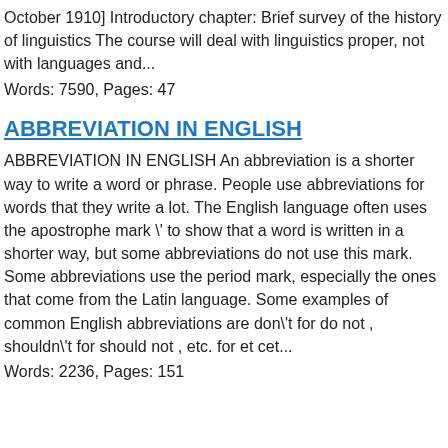October 1910] Introductory chapter: Brief survey of the history of linguistics The course will deal with linguistics proper, not with languages and...
Words: 7590, Pages: 47
ABBREVIATION IN ENGLISH
ABBREVIATION IN ENGLISH An abbreviation is a shorter way to write a word or phrase. People use abbreviations for words that they write a lot. The English language often uses the apostrophe mark \' to show that a word is written in a shorter way, but some abbreviations do not use this mark. Some abbreviations use the period mark, especially the ones that come from the Latin language. Some examples of common English abbreviations are don\'t for do not , shouldn\'t for should not , etc. for et cet...
Words: 2236, Pages: 151